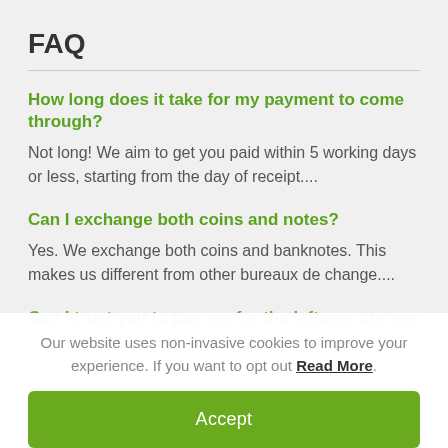FAQ
How long does it take for my payment to come through?
Not long! We aim to get you paid within 5 working days or less, starting from the day of receipt....
Can I exchange both coins and notes?
Yes. We exchange both coins and banknotes. This makes us different from other bureaux de change....
Can I trust you to pay me for the leftover currency and
Our website uses non-invasive cookies to improve your experience. If you want to opt out Read More.
Accept